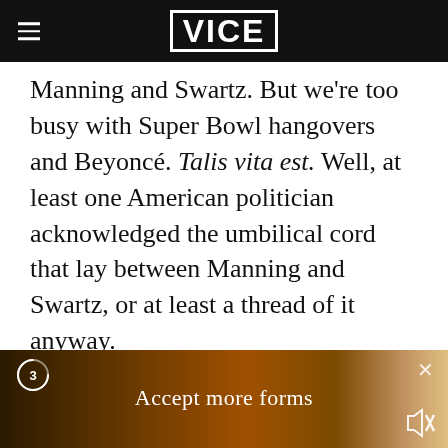VICE
Manning and Swartz. But we're too busy with Super Bowl hangovers and Beyoncé. Talis vita est. Well, at least one American politician acknowledged the umbilical cord that lay between Manning and Swartz, or at least a thread of it anyway.
ANNONS
[Figure (screenshot): Advertisement overlay showing a blurred video still with 'Accept more forms' text, a countdown timer showing 3, a close X button, and a mute icon]
Accept more forms